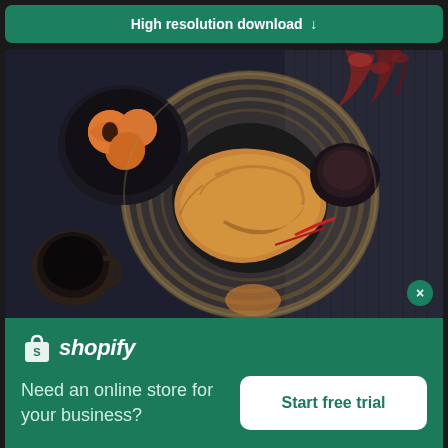High resolution download ↓
[Figure (photo): Overhead flat-lay food photo: croissant on wicker tray, apricots in dark bowl, coffee cup, jam, dark fabric background]
[Figure (logo): Shopify logo: white shopping bag icon with 'S' and italic white 'shopify' text]
Need an online store for your business?
Start free trial